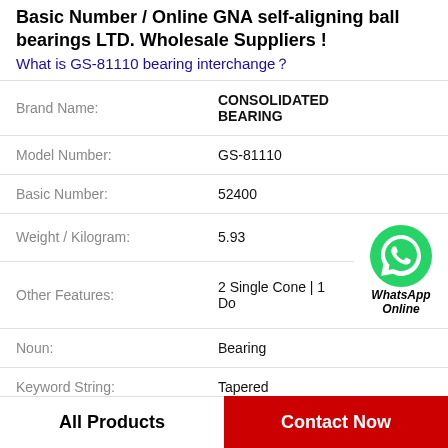Basic Number / Online GNA self-aligning ball bearings LTD. Wholesale Suppliers !
What is GS-81110 bearing interchange？
| Field | Value |
| --- | --- |
| Brand Name: | CONSOLIDATED BEARING |
| Model Number: | GS-81110 |
| Basic Number: | 52400 |
| Weight / Kilogram: | 5.93 |
| Other Features: | 2 Single Cone | 1 Do |
| Noun: | Bearing |
| Keyword String: | Tapered |
| UNSPSC: | 31171516 |
All Products   Contact Now